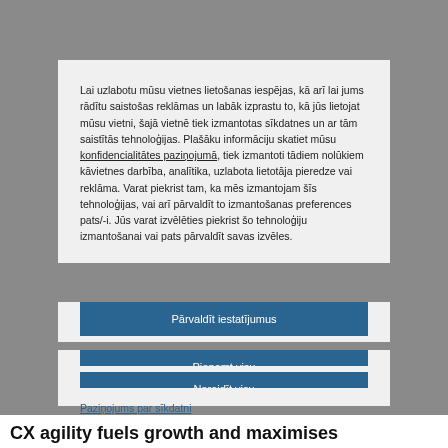Lai uzlabotu mūsu vietnes lietošanas iespējas, kā arī lai jums rādītu saistošas reklāmas un labāk izprastu to, kā jūs lietojat mūsu vietni, šajā vietnē tiek izmantotas sīkdatnes un ar tām saistītās tehnoloģijas. Plašāku informāciju skatiet mūsu konfidencialitātes paziņojumā, tiek izmantoti tādiem nolūkiem kāvietnes darbība, analītika, uzlabota lietotāja pieredze vai reklāma. Varat piekrist tam, ka mēs izmantojam šīs tehnoloģijas, vai arī pārvaldīt to izmantošanas preferences pats/-i. Jūs varat izvēlēties piekrist šo tehnoloģiju izmantošanai vai pats pārvaldīt savas izvēles.
Pārvaldīt iestatījumus
Pieņemt visu
Noraidīt visu
Paziņojums par sīkdatni
CX agility fuels growth and maximises